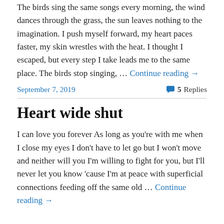The birds sing the same songs every morning, the wind dances through the grass, the sun leaves nothing to the imagination. I push myself forward, my heart paces faster, my skin wrestles with the heat. I thought I escaped, but every step I take leads me to the same place. The birds stop singing, … Continue reading →
September 7, 2019
5 Replies
Heart wide shut
I can love you forever As long as you're with me when I close my eyes I don't have to let go but I won't move and neither will you I'm willing to fight for you, but I'll never let you know 'cause I'm at peace with superficial connections feeding off the same old … Continue reading →